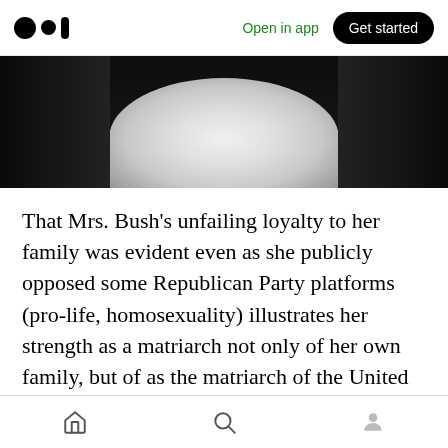Open in app  Get started
[Figure (photo): Cropped photo showing a person wearing a white turtleneck or wrapped white fabric around their neck, with a dark/black jacket or background.]
That Mrs. Bush's unfailing loyalty to her family was evident even as she publicly opposed some Republican Party platforms (pro-life, homosexuality) illustrates her strength as a matriarch not only of her own family, but of as the matriarch of the United States as well. In her Wellesley College commencement address in 1990, Mrs. Bush drew great applause from the
Home  Search  Profile